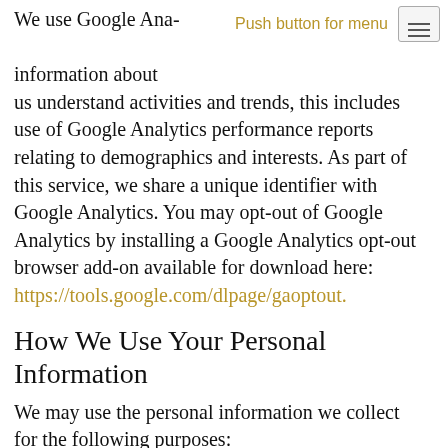Push button for menu
We use Google Analytics to collect information about us understand activities and trends, this includes use of Google Analytics performance reports relating to demographics and interests. As part of this service, we share a unique identifier with Google Analytics. You may opt-out of Google Analytics by installing a Google Analytics opt-out browser add-on available for download here: https://tools.google.com/dlpage/gaoptout.
How We Use Your Personal Information
We may use the personal information we collect for the following purposes:
Provide and improve the Services.  We may use your personal information to provide and